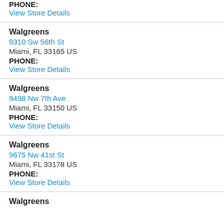PHONE:
View Store Details
Walgreens
9310 Sw 56th St
Miami, FL 33165 US
PHONE:
View Store Details
Walgreens
9498 Nw 7th Ave
Miami, FL 33150 US
PHONE:
View Store Details
Walgreens
9675 Nw 41st St
Miami, FL 33178 US
PHONE:
View Store Details
Walgreens